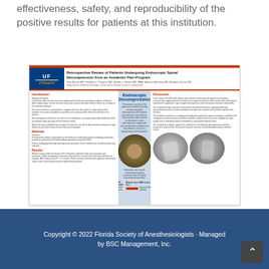effectiveness, safety, and reproducibility of the positive results for patients at this institution.
[Figure (other): Medical conference poster titled 'Retrospective Review of Patients Undergoing Endoscopic Spinal Decompression from an Academic Pain Program' with UF Health logo, three columns (Introduction, Endoscopic Decompression, Discussion), endoscopic images, and X-ray images.]
Copyright © 2022 Florida Society of Anesthesiologists · Managed by BSC Management, Inc.